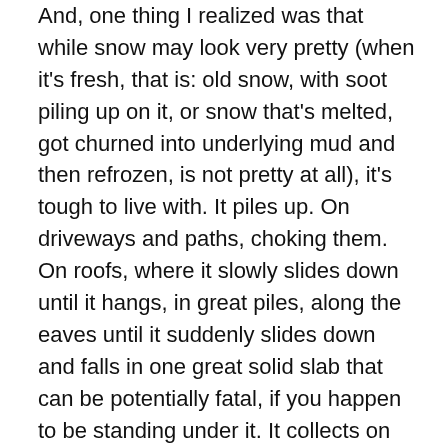And, one thing I realized was that while snow may look very pretty (when it's fresh, that is: old snow, with soot piling up on it, or snow that's melted, got churned into underlying mud and then refrozen, is not pretty at all), it's tough to live with. It piles up. On driveways and paths, choking them. On roofs, where it slowly slides down until it hangs, in great piles, along the eaves until it suddenly slides down and falls in one great solid slab that can be potentially fatal, if you happen to be standing under it. It collects on electricity and telephone wires, turning them into fat white cables (and sometimes snapping them, which means you end up without electricity or a telephone line—though I suppose things must be easier now that everybody has cell phones).
Back then, in the early 1980s, we had yet another problem: when it snowed a lot, there was also the added